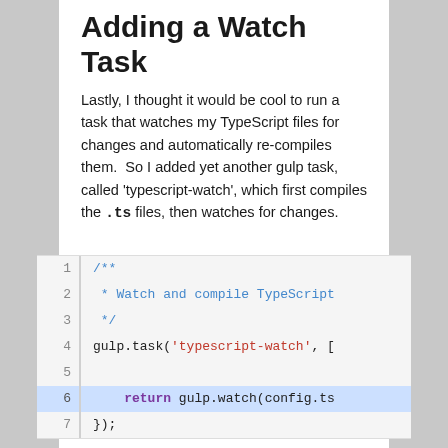Adding a Watch Task
Lastly, I thought it would be cool to run a task that watches my TypeScript files for changes and automatically re-compiles them.  So I added yet another gulp task, called 'typescript-watch', which first compiles the .ts files, then watches for changes.
[Figure (screenshot): Code block showing 7 lines of JavaScript/TypeScript code. Lines numbered 1-7. Line 1: /** Line 2: * Watch and compile TypeScript Line 3: */ Line 4: gulp.task('typescript-watch', [ Line 5: (empty) Line 6 (highlighted): return gulp.watch(config.ts Line 7: });  Line 6 is highlighted in blue.]
I could then execute this task from the command line. Here you can see output shown in the terminal when a semicolon is